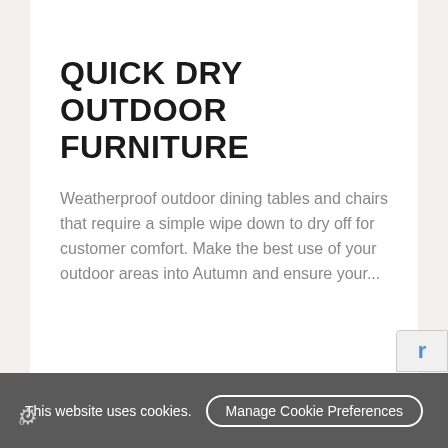QUICK DRY OUTDOOR FURNITURE
Weatherproof outdoor dining tables and chairs that require a simple wipe down to dry off for customer comfort. Make the best use of your outdoor areas into Autumn and ensure your...
This website uses cookies. Manage Cookie Preferences